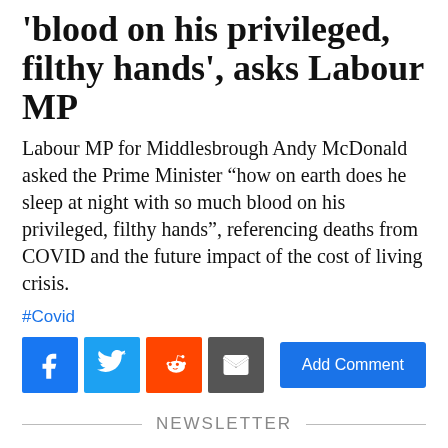'blood on his privileged, filthy hands', asks Labour MP
Labour MP for Middlesbrough Andy McDonald asked the Prime Minister “how on earth does he sleep at night with so much blood on his privileged, filthy hands”, referencing deaths from COVID and the future impact of the cost of living crisis.
#Covid
[Figure (infographic): Social sharing buttons: Facebook (blue), Twitter (light blue), Reddit (orange), Email (grey), and an 'Add Comment' button (blue)]
NEWSLETTER